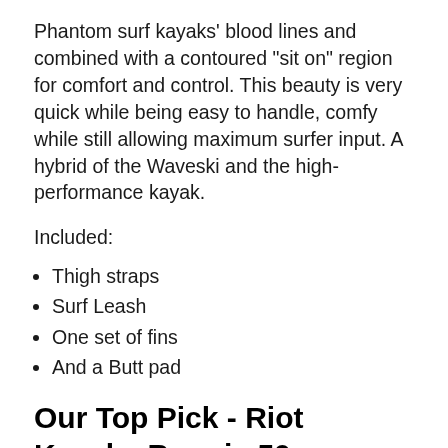Phantom surf kayaks' blood lines and combined with a contoured "sit on" region for comfort and control. This beauty is very quick while being easy to handle, comfy while still allowing maximum surfer input. A hybrid of the Waveski and the high-performance kayak.
Included:
Thigh straps
Surf Leash
One set of fins
And a Butt pad
Our Top Pick - Riot Kayaks Boogie 50 Whitewater Surf